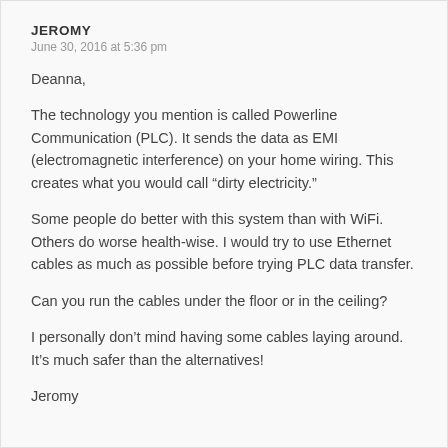JEROMY
June 30, 2016 at 5:36 pm
Deanna,
The technology you mention is called Powerline Communication (PLC). It sends the data as EMI (electromagnetic interference) on your home wiring. This creates what you would call “dirty electricity.”
Some people do better with this system than with WiFi. Others do worse health-wise. I would try to use Ethernet cables as much as possible before trying PLC data transfer.
Can you run the cables under the floor or in the ceiling?
I personally don’t mind having some cables laying around. It’s much safer than the alternatives!
Jeromy